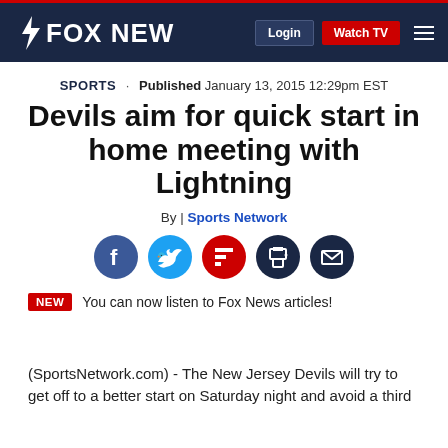FOX NEWS | Login | Watch TV
SPORTS · Published January 13, 2015 12:29pm EST
Devils aim for quick start in home meeting with Lightning
By | Sports Network
[Figure (infographic): Social sharing icons: Facebook, Twitter, Flipboard, Print, Email]
NEW You can now listen to Fox News articles!
(SportsNetwork.com) - The New Jersey Devils will try to get off to a better start on Saturday night and avoid a third